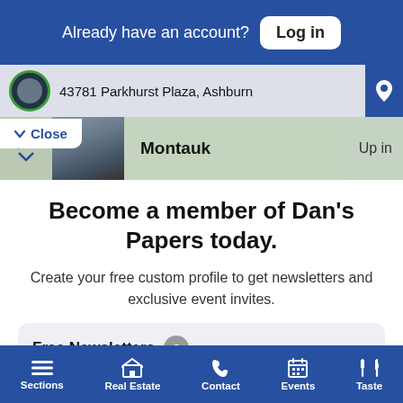Already have an account? Log in
43781 Parkhurst Plaza, Ashburn
Close
Montauk
Up in
Become a member of Dan's Papers today.
Create your free custom profile to get newsletters and exclusive event invites.
Free Newsletters 3
Dan's Daily
Dan's Hamptons Insider
Sections  Real Estate  Contact  Events  Taste